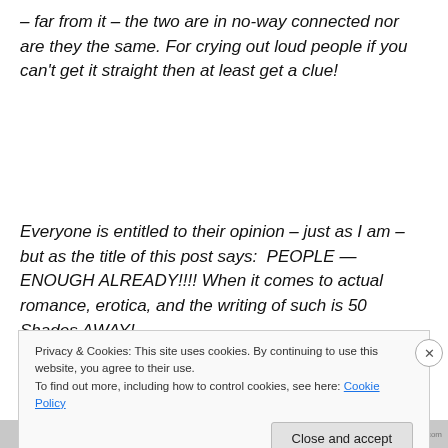– far from it – the two are in no-way connected nor are they the same. For crying out loud people if you can't get it straight then at least get a clue!
Everyone is entitled to their opinion – just as I am – but as the title of this post says:  PEOPLE — ENOUGH ALREADY!!!! When it comes to actual romance, erotica, and the writing of such is 50 Shades AWAY!
Privacy & Cookies: This site uses cookies. By continuing to use this website, you agree to their use.
To find out more, including how to control cookies, see here: Cookie Policy
Close and accept